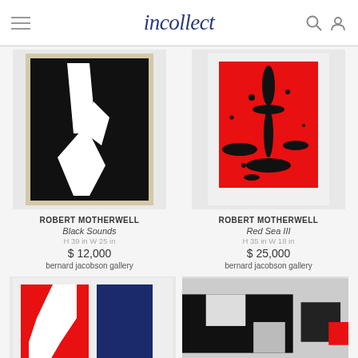incollect
[Figure (photo): Robert Motherwell artwork - Black Sounds, black painting with white abstract shapes]
ROBERT MOTHERWELL
Black Sounds
H 39 in W 25 in
$ 12,000
bernard jacobson gallery
[Figure (photo): Robert Motherwell artwork - Red Sea III, red painting with black abstract splatter]
ROBERT MOTHERWELL
Red Sea III
H 35 in W 18 in
$ 25,000
bernard jacobson gallery
[Figure (photo): Robert Motherwell artwork bottom left - red, blue and black abstract]
[Figure (photo): Robert Motherwell artwork bottom right - black and white abstract]
+ REFINE SEARCH